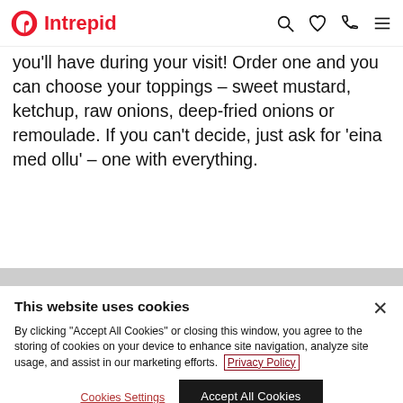Intrepid [logo with navigation icons: search, heart, phone, menu]
you'll have during your visit! Order one and you can choose your toppings – sweet mustard, ketchup, raw onions, deep-fried onions or remoulade. If you can't decide, just ask for 'eina med ollu' – one with everything.
This website uses cookies
By clicking "Accept All Cookies" or closing this window, you agree to the storing of cookies on your device to enhance site navigation, analyze site usage, and assist in our marketing efforts. Privacy Policy
Cookies Settings | Accept All Cookies